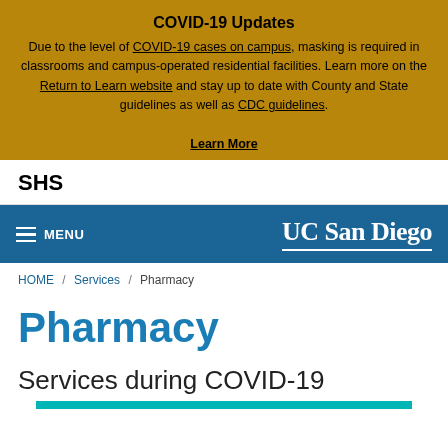COVID-19 Updates
Due to the level of COVID-19 cases on campus, masking is required in classrooms and campus-operated residential facilities. Learn more on the Return to Learn website and stay up to date with County and State guidelines as well as CDC guidelines.
Learn More
SHS
MENU  UC San Diego
HOME / Services / Pharmacy
Pharmacy
Services during COVID-19